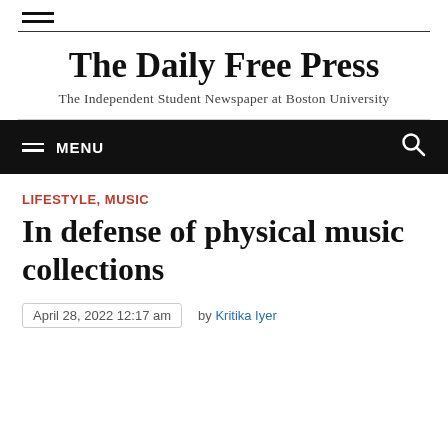[Figure (logo): Hamburger menu icon (three horizontal lines)]
The Daily Free Press
The Independent Student Newspaper at Boston University
MENU (navigation bar with hamburger icon and search icon)
LIFESTYLE, MUSIC
In defense of physical music collections
April 28, 2022 12:17 am   by Kritika Iyer